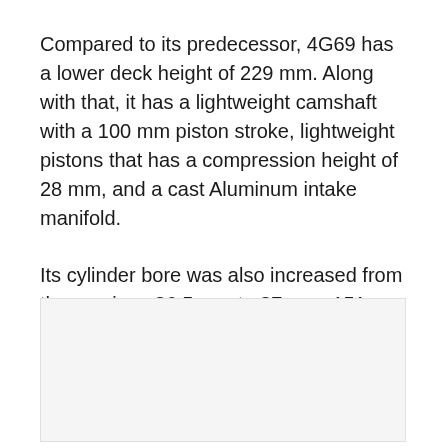Compared to its predecessor, 4G69 has a lower deck height of 229 mm. Along with that, it has a lightweight camshaft with a 100 mm piston stroke, lightweight pistons that has a compression height of 28 mm, and a cast Aluminum intake manifold.
Its cylinder bore was also increased from the previous 86.5 mm to 87 mm, 151 mm forged steel connecting rods, and balance shafts were still used in the block.
[Figure (photo): Empty light gray image placeholder box]